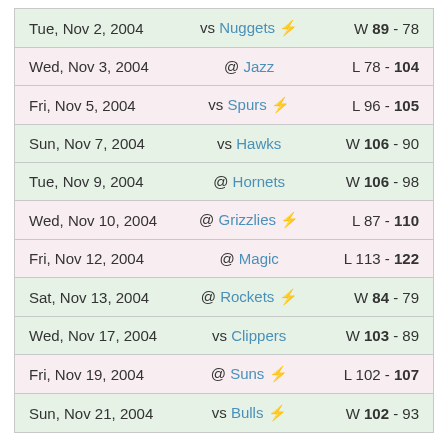| Date | Opponent | Result |
| --- | --- | --- |
| Tue, Nov 2, 2004 | vs Nuggets ⚡ | W 89 - 78 |
| Wed, Nov 3, 2004 | @ Jazz | L 78 - 104 |
| Fri, Nov 5, 2004 | vs Spurs ⚡ | L 96 - 105 |
| Sun, Nov 7, 2004 | vs Hawks | W 106 - 90 |
| Tue, Nov 9, 2004 | @ Hornets | W 106 - 98 |
| Wed, Nov 10, 2004 | @ Grizzlies ⚡ | L 87 - 110 |
| Fri, Nov 12, 2004 | @ Magic | L 113 - 122 |
| Sat, Nov 13, 2004 | @ Rockets ⚡ | W 84 - 79 |
| Wed, Nov 17, 2004 | vs Clippers | W 103 - 89 |
| Fri, Nov 19, 2004 | @ Suns ⚡ | L 102 - 107 |
| Sun, Nov 21, 2004 | vs Bulls ⚡ | W 102 - 93 |